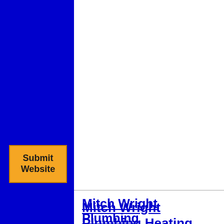[Figure (other): Blue sidebar navigation panel with orange Submit Website button and up/down arrow controls]
Mitch Wright Plumbing Heating
Southaven, Mississippi 38671
1-662-429-4800
www.mitchwrightair.com
Located in Desoto County